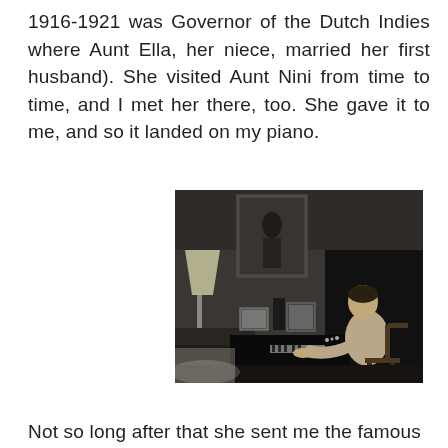1916-1921 was Governor of the Dutch Indies where Aunt Ella, her niece, married her first husband). She visited Aunt Nini from time to time, and I met her there, too. She gave it to me, and so it landed on my piano.
[Figure (photo): Black and white photograph of a person sitting at a grand piano in a living room, with a lamp, framed pictures, and a painting on the wall visible in the background.]
Not so long after that she sent me the famous